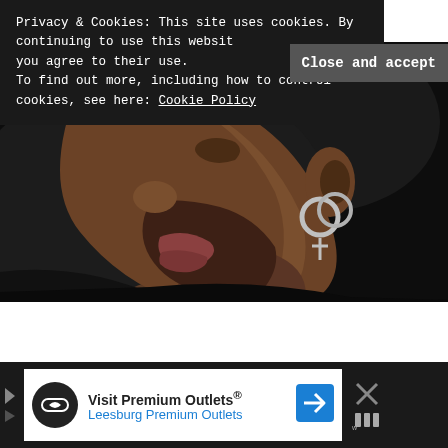Privacy & Cookies: This site uses cookies. By continuing to use this website, you agree to their use.
To find out more, including how to control cookies, see here: Cookie Policy
Close and accept
[Figure (photo): Side profile close-up of a young man with a beard wearing hoop earrings with a cross pendant, dark background]
Visit Premium Outlets® Leesburg Premium Outlets